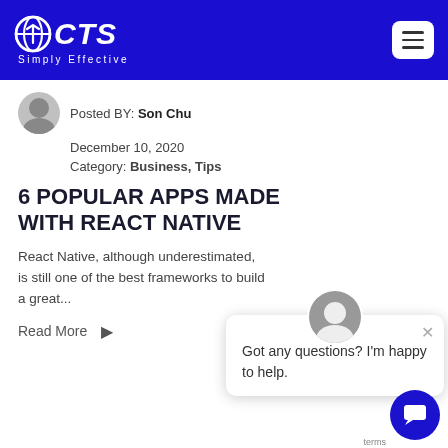ICTS Simply Effective
Posted BY: Son Chu
December 10, 2020
Category: Business, Tips
6 POPULAR APPS MADE WITH REACT NATIVE
React Native, although underestimated, is still one of the best frameworks to build a great...
Read More
Got any questions? I'm happy to help.